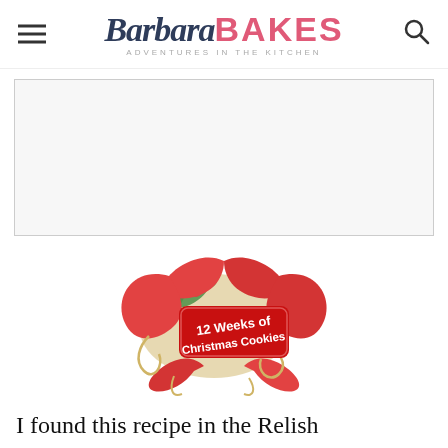Barbara BAKES - ADVENTURES in the KITCHEN
[Figure (other): Advertisement placeholder box]
[Figure (illustration): 12 Weeks of Christmas Cookies badge/logo with red ribbon, holly leaves, and ornamental gold swirls]
I found this recipe in the Relish